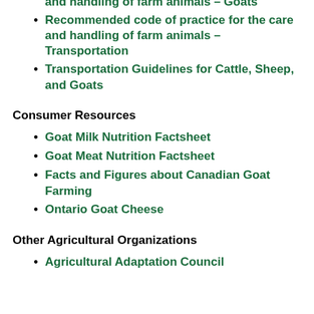Recommended code of practice for the care and handling of farm animals – Goats
Recommended code of practice for the care and handling of farm animals – Transportation
Transportation Guidelines for Cattle, Sheep, and Goats
Consumer Resources
Goat Milk Nutrition Factsheet
Goat Meat Nutrition Factsheet
Facts and Figures about Canadian Goat Farming
Ontario Goat Cheese
Other Agricultural Organizations
Agricultural Adaptation Council